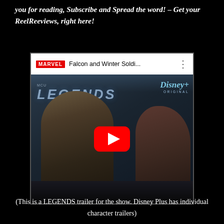you for reading, Subscribe and Spread the word! – Get your ReelReeviews, right here!
[Figure (screenshot): Embedded YouTube video thumbnail showing Marvel Falcon and Winter Soldier Legends trailer. Top bar shows Marvel logo in red, title 'Falcon and Winter Soldi...' with three-dot menu, Disney+ Original logo in top right. Main image shows two men seated in a car — one Black man in foreground and one man with longer dark hair behind — with the LEGENDS text overlay and a large YouTube play button in the center.]
(This is a LEGENDS trailer for the show. Disney Plus has individual character trailers)